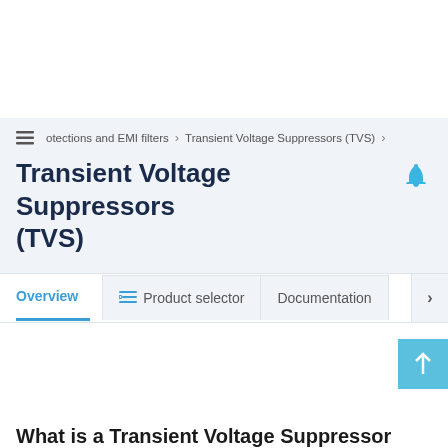otections and EMI filters > Transient Voltage Suppressors (TVS) >
Transient Voltage Suppressors (TVS)
Overview  Product selector  Documentation
What is a Transient Voltage Suppressor (TVS) diode?